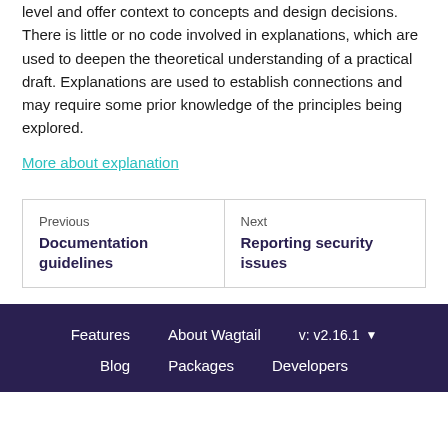level and offer context to concepts and design decisions. There is little or no code involved in explanations, which are used to deepen the theoretical understanding of a practical draft. Explanations are used to establish connections and may require some prior knowledge of the principles being explored.
More about explanation
| Previous | Next |
| --- | --- |
| Documentation guidelines | Reporting security issues |
Features   About Wagtail   [Search]   v: v2.16.1   Blog   Packages   Developers